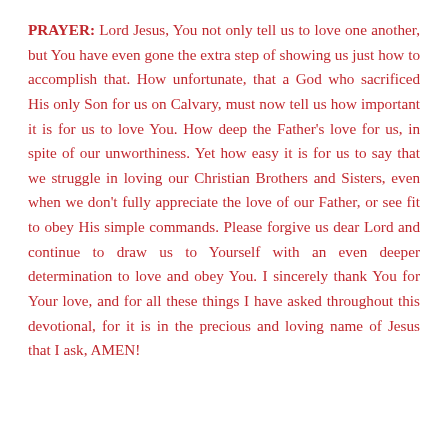PRAYER: Lord Jesus, You not only tell us to love one another, but You have even gone the extra step of showing us just how to accomplish that. How unfortunate, that a God who sacrificed His only Son for us on Calvary, must now tell us how important it is for us to love You. How deep the Father's love for us, in spite of our unworthiness. Yet how easy it is for us to say that we struggle in loving our Christian Brothers and Sisters, even when we don't fully appreciate the love of our Father, or see fit to obey His simple commands. Please forgive us dear Lord and continue to draw us to Yourself with an even deeper determination to love and obey You. I sincerely thank You for Your love, and for all these things I have asked throughout this devotional, for it is in the precious and loving name of Jesus that I ask, AMEN!